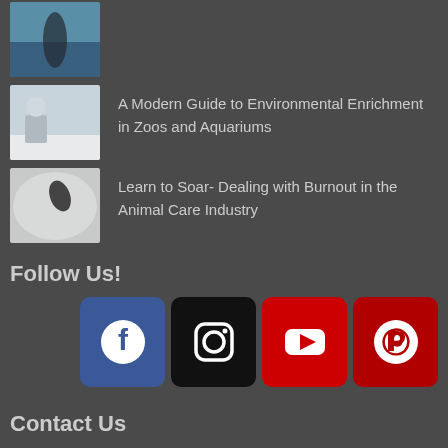A Modern Guide to Environmental Enrichment in Zoos and Aquariums
Learn to Soar- Dealing with Burnout in the Animal Care Industry
Follow Us!
[Figure (illustration): Social media icons: Facebook (blue), Instagram (black), YouTube (red), Pinterest (dark red)]
Contact Us
kyle@wildenrichment.com
Toronto, Ontario, Canada.